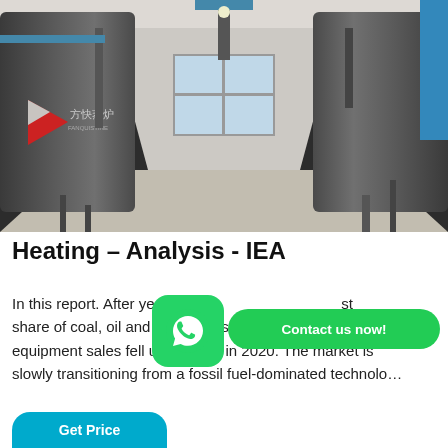[Figure (photo): Industrial boiler room with two large cylindrical grey boilers on left and right sides, pipes overhead, blue equipment on the right wall, a Chinese manufacturer logo (方快蒸炉) visible on the left boiler, and a bright window at the back center.]
Heating – Analysis - IEA
In this report. After years of slow growth, the combined share of coal, oil and natural gas boilers in global heating equipment sales fell under 50% in 2020. The market is slowly transitioning from a fossil fuel-dominated technolo…
[Figure (other): WhatsApp green rounded square icon with phone handset logo]
Contact us now!
Get Price